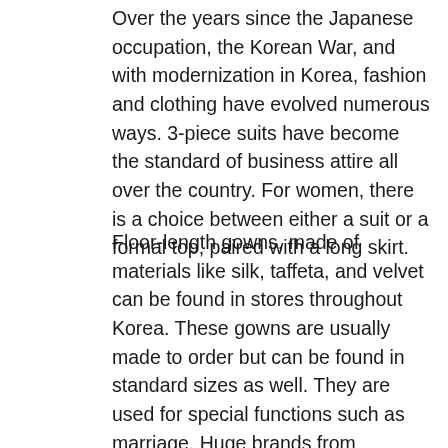Over the years since the Japanese occupation, the Korean War, and with modernization in Korea, fashion and clothing have evolved numerous ways. 3-piece suits have become the standard of business attire all over the country. For women, there is a choice between either a suit or a formal top, paired with a long skirt.
Floor-length gowns, made of materials like silk, taffeta, and velvet can be found in stores throughout Korea. These gowns are usually made to order but can be found in standard sizes as well. They are used for special functions such as marriage. Huge brands from countries like the UK, USA, and even France, have now not only built shops in Korea but also have Korean ambassadors.